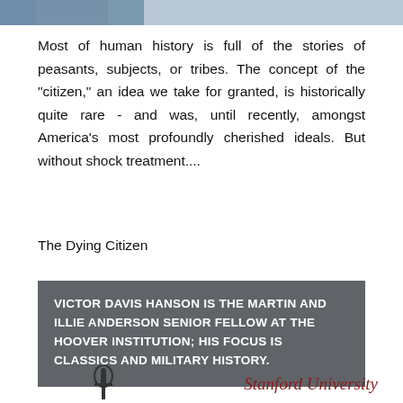[Figure (photo): Partial top strip of a photograph, showing a figure in blue/grey tones against a light background]
Most of human history is full of the stories of peasants, subjects, or tribes. The concept of the "citizen," an idea we take for granted, is historically quite rare - and was, until recently, amongst America's most profoundly cherished ideals. But without shock treatment....
The Dying Citizen
VICTOR DAVIS HANSON IS THE MARTIN AND ILLIE ANDERSON SENIOR FELLOW AT THE HOOVER INSTITUTION; HIS FOCUS IS CLASSICS AND MILITARY HISTORY.
[Figure (logo): Stanford University building/tower logo icon]
Stanford University